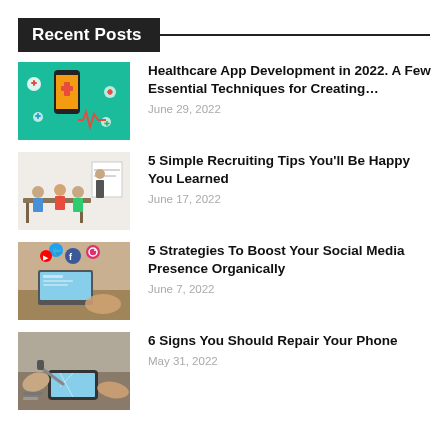Recent Posts
[Figure (illustration): Healthcare app thumbnail: smartphone with medical icons on teal background]
Healthcare App Development in 2022. A Few Essential Techniques for Creating…
June 29, 2022
[Figure (photo): Business meeting scene with people at a table and a presenter]
5 Simple Recruiting Tips You'll Be Happy You Learned
June 17, 2022
[Figure (photo): Person using laptop with social media icons floating above]
5 Strategies To Boost Your Social Media Presence Organically
June 7, 2022
[Figure (photo): Person repairing a phone with tools on a desk]
6 Signs You Should Repair Your Phone
May 31, 2022